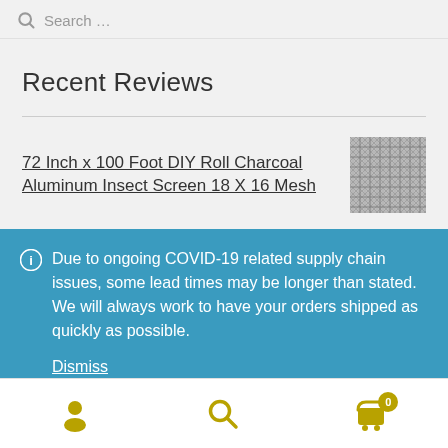Search …
Recent Reviews
72 Inch x 100 Foot DIY Roll Charcoal Aluminum Insect Screen 18 X 16 Mesh
[Figure (other): Charcoal aluminum insect screen mesh product thumbnail image]
Due to ongoing COVID-19 related supply chain issues, some lead times may be longer than stated. We will always work to have your orders shipped as quickly as possible. Dismiss
Bottom navigation bar with person icon, search icon, and cart icon with badge showing 0